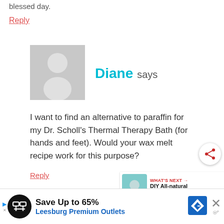blessed day.
Reply
[Figure (illustration): Gray default avatar silhouette placeholder image]
Diane says
I want to find an alternative to paraffin for my Dr. Scholl's Thermal Therapy Bath (for hands and feet). Would your wax melt recipe work for this purpose?
Reply
WHAT'S NEXT → DIY All-natural Wax Melts {T...
Save Up to 65% Leesburg Premium Outlets